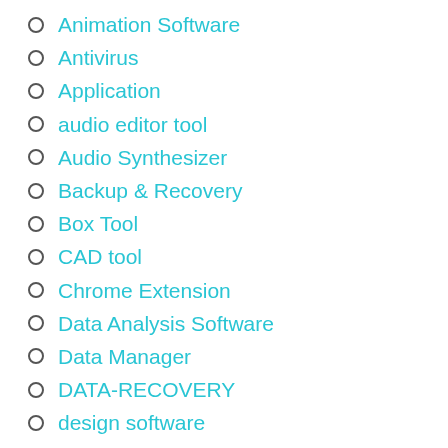Animation Software
Antivirus
Application
audio editor tool
Audio Synthesizer
Backup & Recovery
Box Tool
CAD tool
Chrome Extension
Data Analysis Software
Data Manager
DATA-RECOVERY
design software
designing tool
Developer Tools